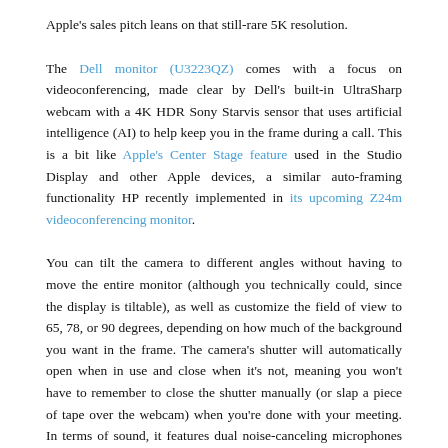Apple's sales pitch leans on that still-rare 5K resolution.
The Dell monitor (U3223QZ) comes with a focus on videoconferencing, made clear by Dell's built-in UltraSharp webcam with a 4K HDR Sony Starvis sensor that uses artificial intelligence (AI) to help keep you in the frame during a call. This is a bit like Apple's Center Stage feature used in the Studio Display and other Apple devices, a similar auto-framing functionality HP recently implemented in its upcoming Z24m videoconferencing monitor.
You can tilt the camera to different angles without having to move the entire monitor (although you technically could, since the display is tiltable), as well as customize the field of view to 65, 78, or 90 degrees, depending on how much of the background you want in the frame. The camera's shutter will automatically open when in use and close when it's not, meaning you won't have to remember to close the shutter manually (or slap a piece of tape over the webcam) when you're done with your meeting. In terms of sound, it features dual noise-canceling microphones and two 14W speakers.